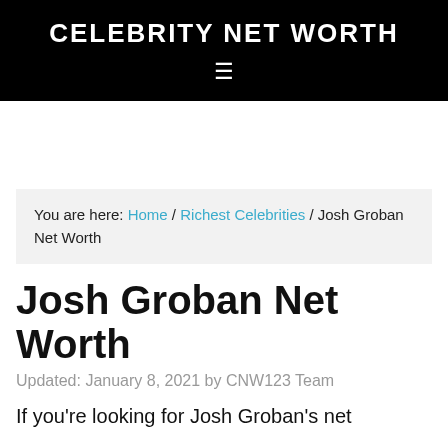CELEBRITY NET WORTH
You are here: Home / Richest Celebrities / Josh Groban Net Worth
Josh Groban Net Worth
Updated: January 8, 2021 by CNW123 Team
If you're looking for Josh Groban's net